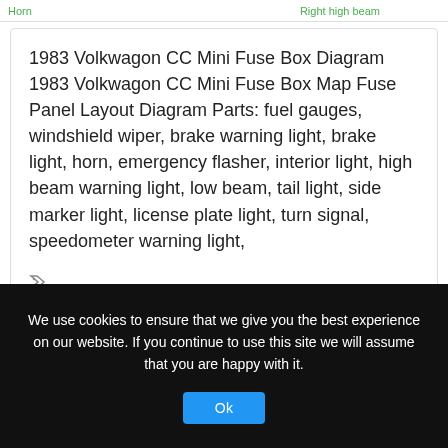Horn    Right high beam
1983 Volkwagon CC Mini Fuse Box Diagram 1983 Volkwagon CC Mini Fuse Box Map Fuse Panel Layout Diagram Parts: fuel gauges, windshield wiper, brake warning light, brake light, horn, emergency flasher, interior light, high beam warning light, low beam, tail light, side marker light, license plate light, turn signal, speedometer warning light,
fuse block, fuse box, Fuse Holder, fuse layout, fuse map, fuse panel, license plate light, side marker light, speedometer warning light, Turn Signal
We use cookies to ensure that we give you the best experience on our website. If you continue to use this site we will assume that you are happy with it.